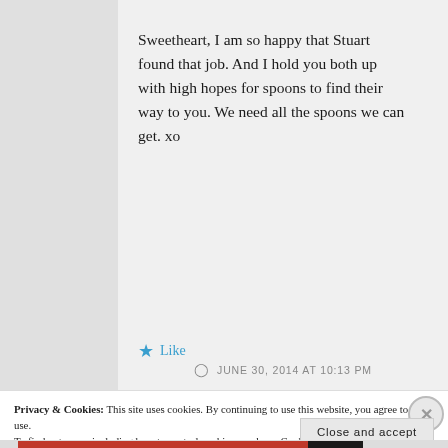Sweetheart, I am so happy that Stuart found that job. And I hold you both up with high hopes for spoons to find their way to you. We need all the spoons we can get. xo
★ Like
JUNE 30, 2014 AT 10:13 PM
Privacy & Cookies: This site uses cookies. By continuing to use this website, you agree to their use.
To find out more, including how to control cookies, see here: Cookie Policy
Close and accept